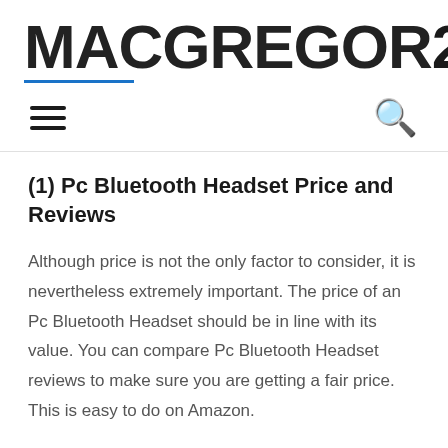MACGREGOR26
(1) Pc Bluetooth Headset Price and Reviews
Although price is not the only factor to consider, it is nevertheless extremely important. The price of an Pc Bluetooth Headset should be in line with its value. You can compare Pc Bluetooth Headset reviews to make sure you are getting a fair price. This is easy to do on Amazon.
(2) Re...